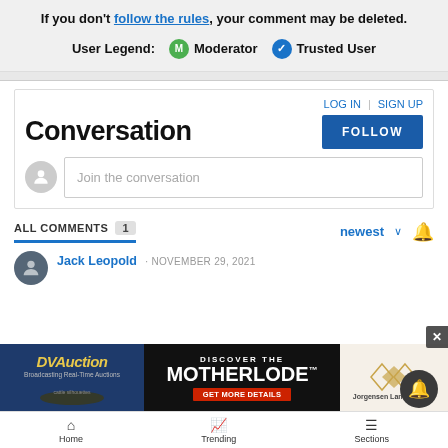If you don't follow the rules, your comment may be deleted.
User Legend: M Moderator  Trusted User
LOG IN | SIGN UP
Conversation
FOLLOW
Join the conversation
ALL COMMENTS 1
newest
Jack Leopold · NOVEMBER 29, 2021
[Figure (screenshot): DVAuction advertisement: Discover the Motherlode - Get More Details - Jorgensen Land & Cattle]
Home   Trending   Sections